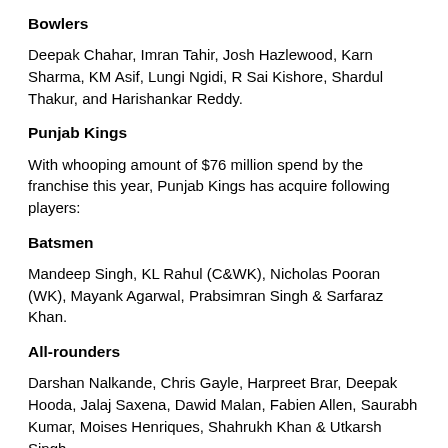Bowlers
Deepak Chahar, Imran Tahir, Josh Hazlewood, Karn Sharma, KM Asif, Lungi Ngidi, R Sai Kishore, Shardul Thakur, and Harishankar Reddy.
Punjab Kings
With whooping amount of $76 million spend by the franchise this year, Punjab Kings has acquire following players:
Batsmen
Mandeep Singh, KL Rahul (C&WK), Nicholas Pooran (WK), Mayank Agarwal, Prabsimran Singh & Sarfaraz Khan.
All-rounders
Darshan Nalkande, Chris Gayle, Harpreet Brar, Deepak Hooda, Jalaj Saxena, Dawid Malan, Fabien Allen, Saurabh Kumar, Moises Henriques, Shahrukh Khan & Utkarsh Singh.